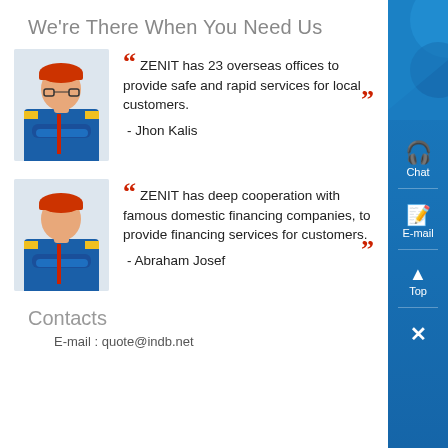We're There When You Need Us
[Figure (photo): Person in blue and yellow work uniform with red hard hat, arms crossed]
“ ZENIT has 23 overseas offices to provide safe and rapid services for local customers. ” - Jhon Kalis
[Figure (photo): Person in blue and yellow work uniform with red hard hat, arms crossed]
“ ZENIT has deep cooperation with famous domestic financing companies, to provide financing services for customers. ” - Abraham Josef
Contacts
E-mail : quote@indb.net